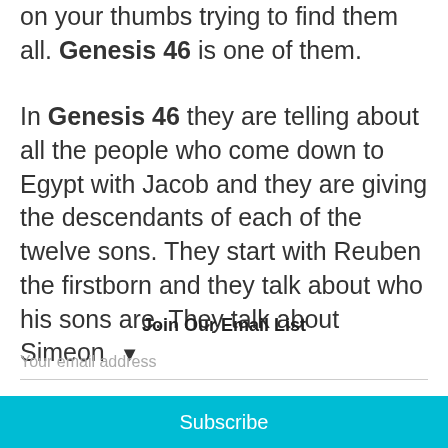on your thumbs trying to find them all. Genesis 46 is one of them.
In Genesis 46 they are telling about all the people who come down to Egypt with Jacob and they are giving the descendants of each of the twelve sons. They start with Reuben the firstborn and they talk about who his sons are. They talk about Simeon ▼
Join Our Email List
Your email address
Subscribe